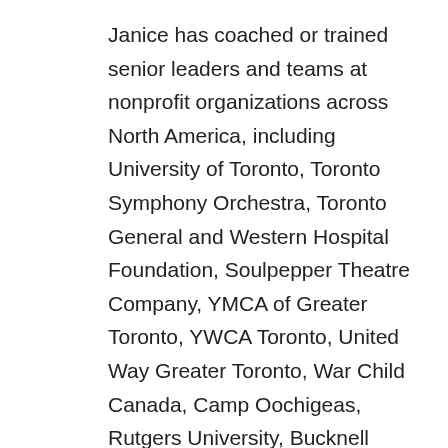Janice has coached or trained senior leaders and teams at nonprofit organizations across North America, including University of Toronto, Toronto Symphony Orchestra, Toronto General and Western Hospital Foundation, Soulpepper Theatre Company, YMCA of Greater Toronto, YWCA Toronto, United Way Greater Toronto, War Child Canada, Camp Oochigeas, Rutgers University, Bucknell University, George Washington University, Oklahoma State University Foundation, University of Southern California, University of Florida, Occidental College, and University of